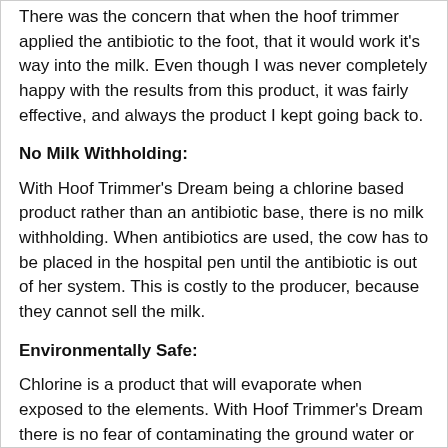There was the concern that when the hoof trimmer applied the antibiotic to the foot, that it would work it's way into the milk. Even though I was never completely happy with the results from this product, it was fairly effective, and always the product I kept going back to.
No Milk Withholding:
With Hoof Trimmer's Dream being a chlorine based product rather than an antibiotic base, there is no milk withholding. When antibiotics are used, the cow has to be placed in the hospital pen until the antibiotic is out of her system. This is costly to the producer, because they cannot sell the milk.
Environmentally Safe:
Chlorine is a product that will evaporate when exposed to the elements. With Hoof Trimmer's Dream there is no fear of contaminating the ground water or the milk. Chlorine has been considered safe enough to drink, as well as to let our children swim in for years.
Waterproof:
Regardless of how hard the dairyman tries to provide